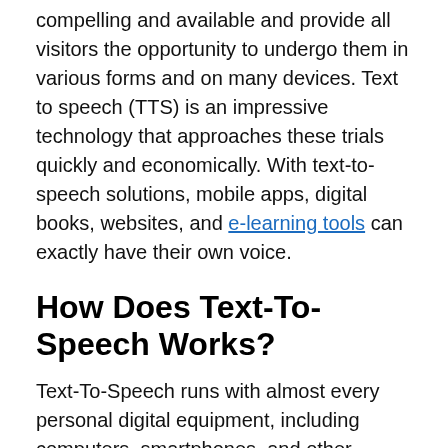compelling and available and provide all visitors the opportunity to undergo them in various forms and on many devices. Text to speech (TTS) is an impressive technology that approaches these trials quickly and economically. With text-to-speech solutions, mobile apps, digital books, websites, and e-learning tools can exactly have their own voice.
How Does Text-To-Speech Works?
Text-To-Speech runs with almost every personal digital equipment, including computers, smartphones, and other mobile devices. All sorts of text files can be read audibly, and even web pages can be read aloud. The voice in TTS is computer-produced, and the reading pace can usually be sped up or reduced down. Voice quality diversifies, but some voices appear to be similar to an actual human speaker. There are even computer-generated voices that sound identical to children speaking.